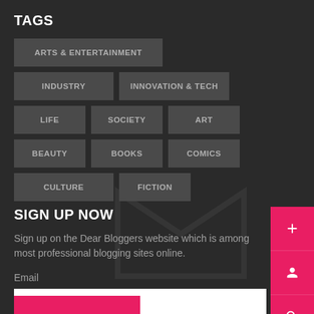TAGS
ARTS & ENTERTAINMENT
INDUSTRY
INNOVATION & TECH
LIFE
SOCIETY
ART
BEAUTY
BOOKS
COMICS
CULTURE
FICTION
SIGN UP NOW
Sign up on the Dear Bloggers website which is among most professional blogging sites online.
Email
Enter your email id